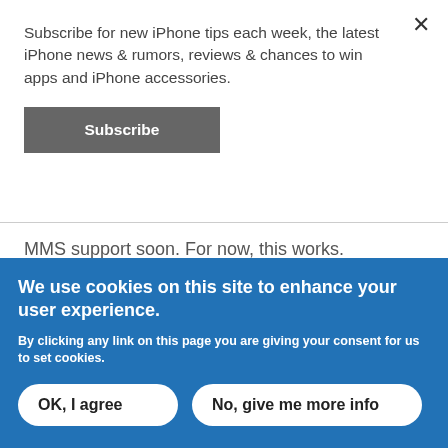Subscribe for new iPhone tips each week, the latest iPhone news & rumors, reviews & chances to win apps and iPhone accessories.
Subscribe
MMS support soon. For now, this works.
We use cookies on this site to enhance your user experience.
By clicking any link on this page you are giving your consent for us to set cookies.
OK, I agree
No, give me more info